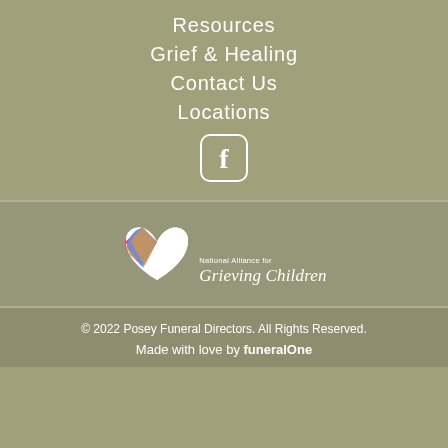Resources
Grief & Healing
Contact Us
Locations
[Figure (logo): Facebook logo icon — white rounded square with white 'f' letter]
[Figure (logo): National Alliance for Grieving Children logo — colorful heart with white text]
© 2022 Posey Funeral Directors. All Rights Reserved. Made with love by funeralOne